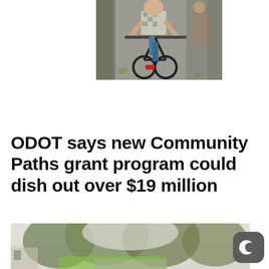[Figure (photo): Photo of a person riding a bicycle on a path, viewed from the front. A second cyclist is visible to the right.]
ODOT says new Community Paths grant program could dish out over $19 million
[Figure (photo): Photo of a tree-lined path or street with green foliage, slightly hazy/foggy.]